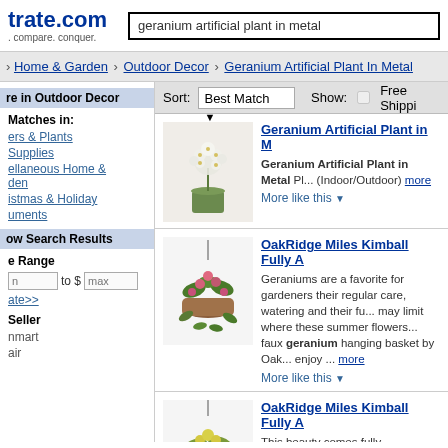trate.com search: geranium artificial plant in metal
Home & Garden › Outdoor Decor › Geranium Artificial Plant In Metal
re in Outdoor Decor
Matches in: ers & Plants, Supplies, ellaneous Home & den, istmas & Holiday, uments
ow Search Results
e Range
Seller: nmart, air
Sort: Best Match  Show: Free Shippi
Geranium Artificial Plant in M... Geranium Artificial Plant in Metal Pl... (Indoor/Outdoor) more. More like this ▼
OakRidge Miles Kimball Fully A... Geraniums are a favorite for gardeners their regular care, watering and their fu... may limit where these summer flowers... faux geranium hanging basket by Oak... enjoy ... more. More like this ▼
OakRidge Miles Kimball Fully A... This beauty comes fully assembled, be... amazingly lifelike red geranium hangi... 10"dia. metal basket with coco fiber li... polyester, plastic and wire stems. Spe...